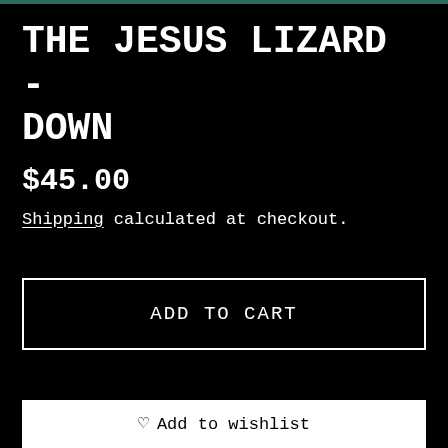THE JESUS LIZARD - DOWN
$45.00
Shipping calculated at checkout.
ADD TO CART
Add to wishlist